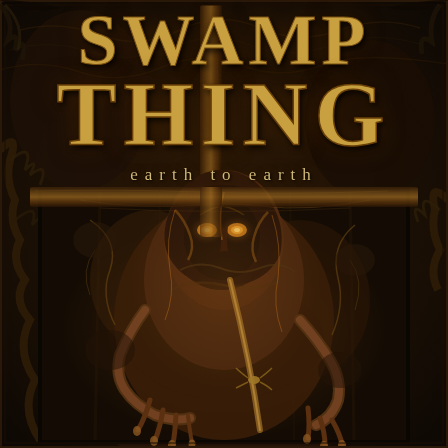SWAMP THING
earth to earth
[Figure (illustration): Comic book cover art showing Swamp Thing, a dark mossy creature figure, breaking through a wooden frame/door. The creature has glowing eyes, vine-like tendrils, and clawed hands. The image has dark brown, amber, and golden tones on a dark background. A cross-like wooden frame structure overlays the composition.]